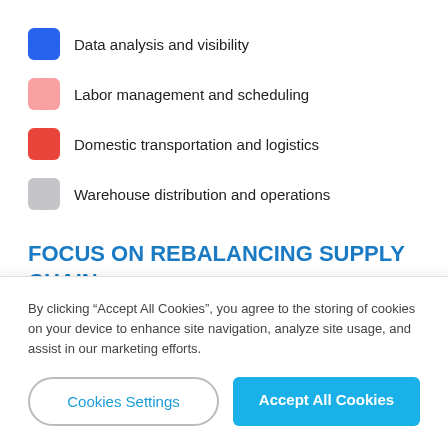Data analysis and visibility
Labor management and scheduling
Domestic transportation and logistics
Warehouse distribution and operations
FOCUS ON REBALANCING SUPPLY CHAIN NETWORKS
83%
By clicking “Accept All Cookies”, you agree to the storing of cookies on your device to enhance site navigation, analyze site usage, and assist in our marketing efforts.
Cookies Settings
Accept All Cookies